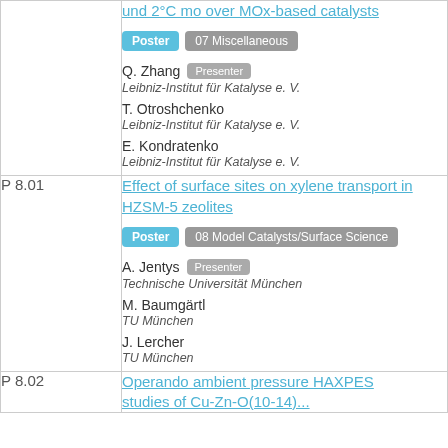| ID | Content |
| --- | --- |
|  | und 2°C mo over MOx-based catalysts | Poster | 07 Miscellaneous | Q. Zhang (Presenter) | Leibniz-Institut für Katalyse e. V. | T. Otroshchenko | Leibniz-Institut für Katalyse e. V. | E. Kondratenko | Leibniz-Institut für Katalyse e. V. |
| P 8.01 | Effect of surface sites on xylene transport in HZSM-5 zeolites | Poster | 08 Model Catalysts/Surface Science | A. Jentys (Presenter) | Technische Universität München | M. Baumgärtl | TU München | J. Lercher | TU München |
| P 8.02 | Operando ambient pressure HAXPES studies of Cu-Zn-O(10-14)... |